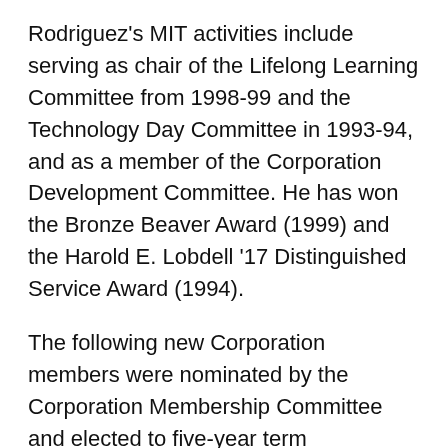Rodriguez's MIT activities include serving as chair of the Lifelong Learning Committee from 1998-99 and the Technology Day Committee in 1993-94, and as a member of the Corporation Development Committee. He has won the Bronze Beaver Award (1999) and the Harold E. Lobdell '17 Distinguished Service Award (1994).
The following new Corporation members were nominated by the Corporation Membership Committee and elected to five-year term membership:
Paul J. Ferri , general partner of Matrix Partners.
Ferri, a native of Rome, holds degrees in electrical